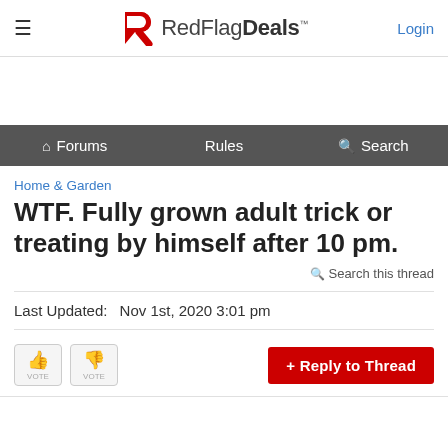RedFlagDeals™  Login
Forums  Rules  Search
Home & Garden
WTF. Fully grown adult trick or treating by himself after 10 pm.
Search this thread
Last Updated:  Nov 1st, 2020 3:01 pm
+ Reply to Thread